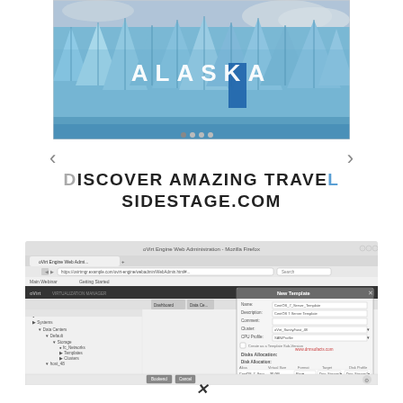[Figure (photo): Alaska glacier photo with large white text 'ALASKA' overlaid in the center, showing blue ice formations]
< (left arrow navigation) > (right arrow navigation)
DISCOVER AMAZING TRAVEL SIDESTAGE.COM
[Figure (screenshot): Mozilla Firefox browser window showing oVirt Engine Web Administration interface with a 'New Template' dialog box open, containing fields for Name, Description, Comment, Cluster, CPU Profile, and Disk Allocation options]
x